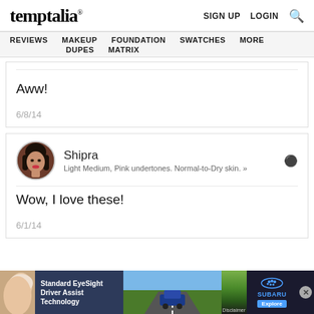temptalia® — SIGN UP  LOGIN  🔍
REVIEWS  MAKEUP  FOUNDATION  SWATCHES  MORE  DUPES  MATRIX
Aww!
6/8/14
Shipra
Light Medium, Pink undertones. Normal-to-Dry skin. »
Wow, I love these!
6/1/14
[Figure (other): Subaru Standard EyeSight Driver Assist Technology advertisement banner at page bottom]